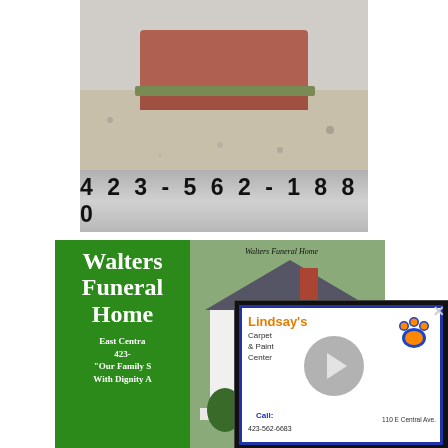[Figure (photo): Photo of a gravestone/burial marker with gravel surroundings]
4 2 3 - 5 6 2 - 1 8 8 0
[Figure (photo): Walters Funeral Home advertisement with green panel on left showing name and contact info, and photo of the funeral home building on the right]
[Figure (photo): Lindsay's Carpet & Paint Center video overlay advertisement with paw logo, play button, phone and address]